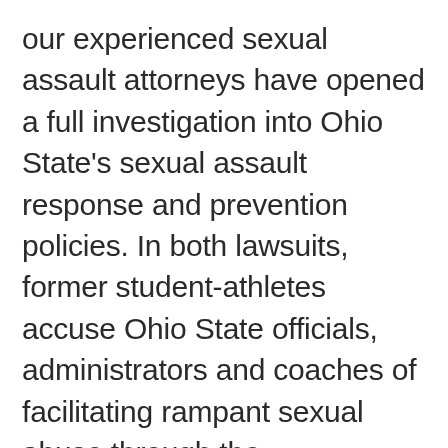our experienced sexual assault attorneys have opened a full investigation into Ohio State's sexual assault response and prevention policies. In both lawsuits, former student-athletes accuse Ohio State officials, administrators and coaches of facilitating rampant sexual abuse through the concealment of evidence and downplaying of sexual assault reports. If true,